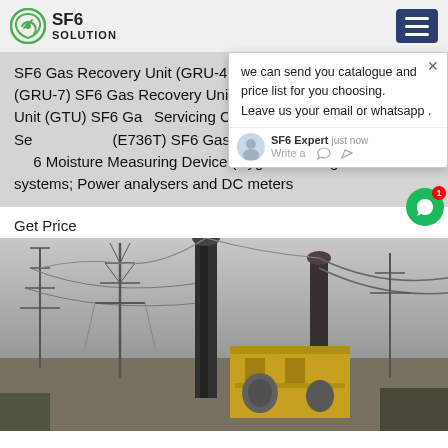SF6 SOLUTION
SF6 Gas Recovery Unit (GRU-4) SF6 Gas Recovery Unit (GRU-7) SF6 Gas Recovery Unit (GRU-8) SF6 Gas Transfer Unit (GTU) SF6 Gas Servicing Cart (E736A) SF6 Gas Servicing Cart (E736T) SF6 Gas Analyzers and Accessories SF6 Moisture Measuring Device (Hygrom) Energo. Meter test systems; Power analysers and DC meters
we can send you catalogue and price list for you choosing. Leave us your email or whatsapp .
SF6 Expert   just now
Write a
Get Price
[Figure (photo): Outdoor electrical substation with high-voltage transmission towers, equipment and yellow building, black and white/sepia tone photo]